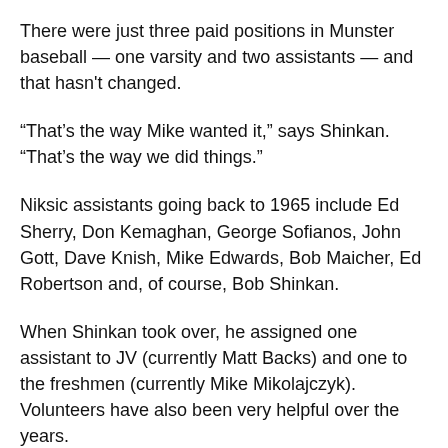There were just three paid positions in Munster baseball — one varsity and two assistants — and that hasn't changed.
“That’s the way Mike wanted it,” says Shinkan. “That’s the way we did things.”
Niksic assistants going back to 1965 include Ed Sherry, Don Kemaghan, George Sofianos, John Gott, Dave Knish, Mike Edwards, Bob Maicher, Ed Robertson and, of course, Bob Shinkan.
When Shinkan took over, he assigned one assistant to JV (currently Matt Backs) and one to the freshmen (currently Mike Mikolajczyk). Volunteers have also been very helpful over the years.
Shinkan’s first staff in 1986 included Charles Boston and Mark Agenter. There’s also been Dennis Haas, Paul Banas, Hal Coppage, Jim Magrames, Tom Langus, Steve Trinonfeldes, Jim